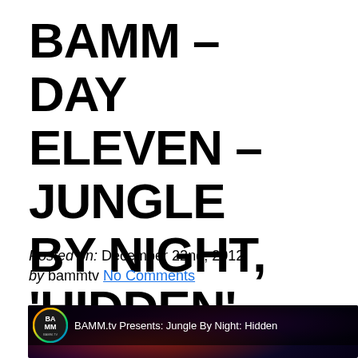BAMM - DAY ELEVEN - JUNGLE BY NIGHT, 'HIDDEN'
Posted on: December 22nd, 2012
by bammtv No Comments
[Figure (screenshot): Video thumbnail showing BAMM.tv logo and text 'BAMM.tv Presents: Jungle By Night: Hidden' over a dark concert photo of a musician playing trumpet with purple and red stage lighting]